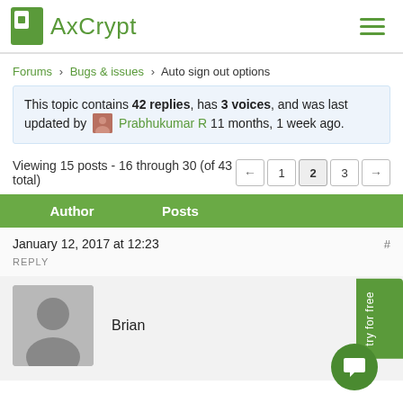AxCrypt
Forums › Bugs & issues › Auto sign out options
This topic contains 42 replies, has 3 voices, and was last updated by Prabhukumar R 11 months, 1 week ago.
Viewing 15 posts - 16 through 30 (of 43 total)
| Author | Posts |
| --- | --- |
| Brian | January 12, 2017 at 12:23 |
REPLY
Brian